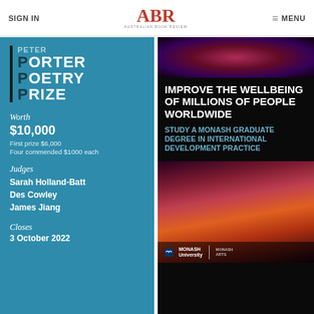SIGN IN | ABR AUSTRALIAN BOOK REVIEW | MENU
[Figure (illustration): Peter Porter Poetry Prize advertisement on teal/blue background. Prize title block with black left border. Details: Worth $10,000, First prize $6,000, Four commended $1000 each. Judges: Sarah Holland-Batt, Des Cowley, James Jiang. Closes 3 October 2022.]
[Figure (illustration): Monash University advertisement on black background with colorful fractal/feather imagery. Headline: IMPROVE THE WELLBEING OF MILLIONS OF PEOPLE WORLDWIDE. Subtext: STUDY A MONASH GRADUATE DEGREE IN INTERNATIONAL DEVELOPMENT PRACTICE. Monash University and Monash Arts logos at bottom.]